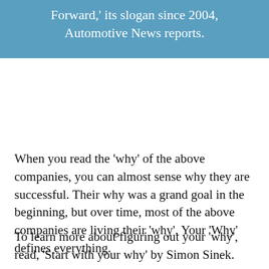Forward,' its slogan since 2004, Automotive News reports.
When you read the 'why' of the above companies, you can almost sense why they are successful. Their why was a grand goal in the beginning, but over time, most of the above companies are living their 'why'. Your 'Why' defines everything.
To learn more about figuring out your 'why', read, 'Start with your why' by Simon Sinek.